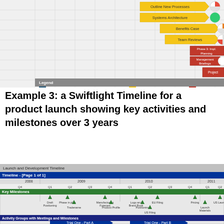[Figure (other): Top portion of a Gantt/timeline chart showing tasks: Outline New Processes, Systems Architecture, Benefits Case, Team Reviews, Phase 3 Implementation Planning, Management Briefings, Project milestone. Legend shows Phase 1 (blue), Phase 2 (yellow), Phase 3 (red).]
Example 3: a Swiftlight Timeline for a product launch showing key activities and milestones over 3 years
[Figure (other): Launch and Development Timeline Gantt chart showing Timeline Page 1 of 1 with years 2008-2011, Key Milestones (Draft Positioning, Phase in plan, Tradename, Manufacturing Forecast, Product Profile, Logo and Brand Book, Positioning, EU Filing, US Filing, Pricing, Launch Materials, US Launch), Activity Groups with Meetings and Milestones (Trial One Part A, Trial One Part B with Report/Congress/Publish milestones, Trial Two).]